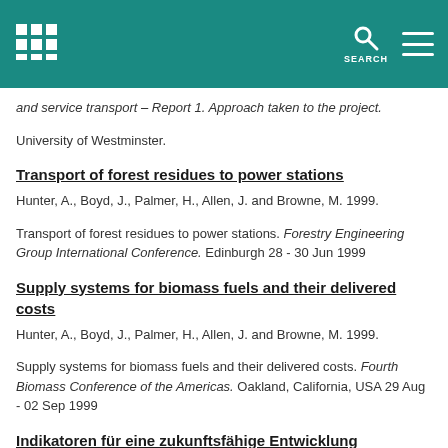SEARCH
and service transport – Report 1. Approach taken to the project. University of Westminster.
Transport of forest residues to power stations
Hunter, A., Boyd, J., Palmer, H., Allen, J. and Browne, M. 1999. Transport of forest residues to power stations. Forestry Engineering Group International Conference. Edinburgh 28 - 30 Jun 1999
Supply systems for biomass fuels and their delivered costs
Hunter, A., Boyd, J., Palmer, H., Allen, J. and Browne, M. 1999. Supply systems for biomass fuels and their delivered costs. Fourth Biomass Conference of the Americas. Oakland, California, USA 29 Aug - 02 Sep 1999
Indikatoren für eine zukunftsfähige Entwicklung Hamburgs
Gomm, E., Brink, B., Leonardi, J., Menzel, J. and Willke, K. 1999.